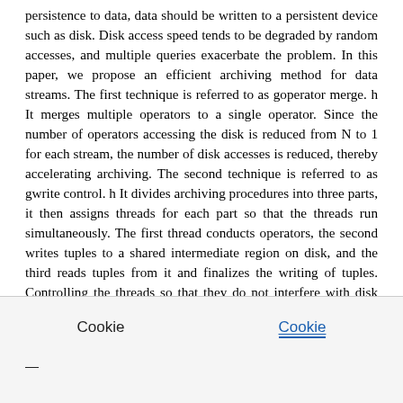persistence to data, data should be written to a persistent device such as disk. Disk access speed tends to be degraded by random accesses, and multiple queries exacerbate the problem. In this paper, we propose an efficient archiving method for data streams. The first technique is referred to as goperator merge. h It merges multiple operators to a single operator. Since the number of operators accessing the disk is reduced from N to 1 for each stream, the number of disk accesses is reduced, thereby accelerating archiving. The second technique is referred to as gwrite control. h It divides archiving procedures into three parts, it then assigns threads for each part so that the threads run simultaneously. The first thread conducts operators, the second writes tuples to a shared intermediate region on disk, and the third reads tuples from it and finalizes the writing of tuples. Controlling the threads so that they do not interfere with disk accesses accelerates archiving. Experiments showed that our proposal dramatically improved performance compared with the nave method. With a tuple size of 10KB, our proposed system
Cookie
Cookie
—